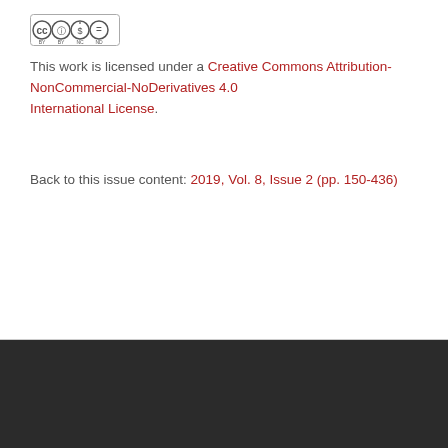[Figure (logo): Creative Commons BY-NC-ND license badge icon]
This work is licensed under a Creative Commons Attribution-NonCommercial-NoDerivatives 4.0 International License.
Back to this issue content: 2019, Vol. 8, Issue 2 (pp. 150-436)